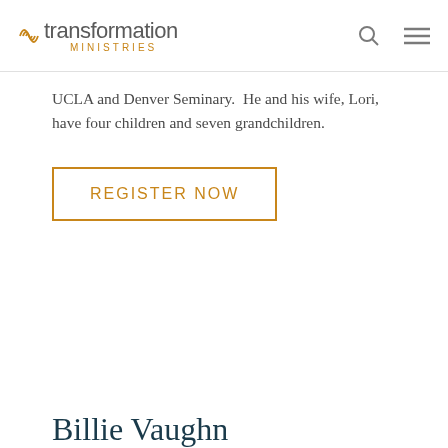transformation MINISTRIES
UCLA and Denver Seminary.  He and his wife, Lori, have four children and seven grandchildren.
REGISTER NOW
Billie Vaughn